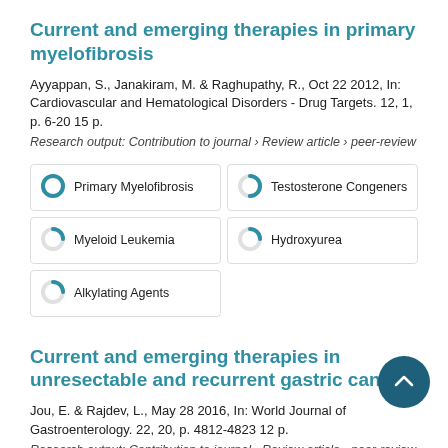Current and emerging therapies in primary myelofibrosis
Ayyappan, S., Janakiram, M. & Raghupathy, R., Oct 22 2012, In: Cardiovascular and Hematological Disorders - Drug Targets. 12, 1, p. 6-20 15 p.
Research output: Contribution to journal › Review article › peer-review
[Figure (infographic): Five keyword badge pills showing topic coverage rings: Primary Myelofibrosis (full blue ring), Testosterone Congeners (half ring), Myeloid Leukemia (quarter ring), Hydroxyurea (quarter ring), Alkylating Agents (quarter ring)]
Current and emerging therapies in unresectable and recurrent gastric cancer
Jou, E. & Rajdev, L., May 28 2016, In: World Journal of Gastroenterology. 22, 20, p. 4812-4823 12 p.
Research output: Contribution to journal › Review article › peer-review